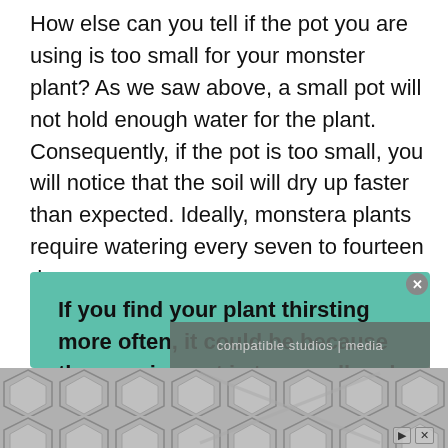How else can you tell if the pot you are using is too small for your monster plant? As we saw above, a small pot will not hold enough water for the plant. Consequently, if the pot is too small, you will notice that the soil will dry up faster than expected. Ideally, monstera plants require watering every seven to fourteen days.
If you find your plant thirsting more often, it could be because the growing pot is too small and unable to sustain water. Whenever the plant is thirsty, you will notice the leaves curling up and
[Figure (other): Advertisement banner at the bottom with hexagonal pattern tiles in gray, with play and close controls]